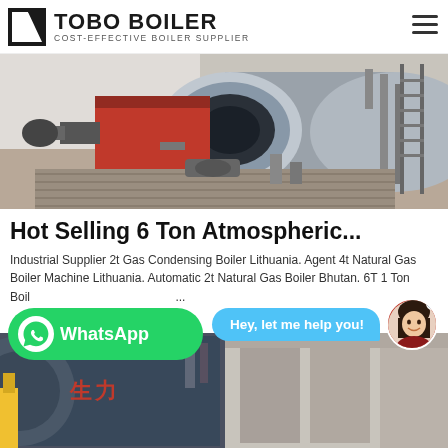TOBO BOILER — COST-EFFECTIVE BOILER SUPPLIER
[Figure (photo): Industrial gas boiler equipment in a facility — large cylindrical boiler with red burner unit and piping]
Hot Selling 6 Ton Atmospheric...
Industrial Supplier 2t Gas Condensing Boiler Lithuania. Agent 4t Natural Gas Boiler Machine Lithuania. Automatic 2t Natural Gas Boiler Bhutan. 6T 1 Ton Boiler Agent Fuel Consumption...
[Figure (screenshot): Chat assistant popup with 'Hey, let me help you!' bubble and female avatar]
[Figure (screenshot): WhatsApp contact button (green, with WhatsApp logo and text)]
[Figure (photo): Second industrial boiler image showing large blue cylindrical boiler with yellow piping]